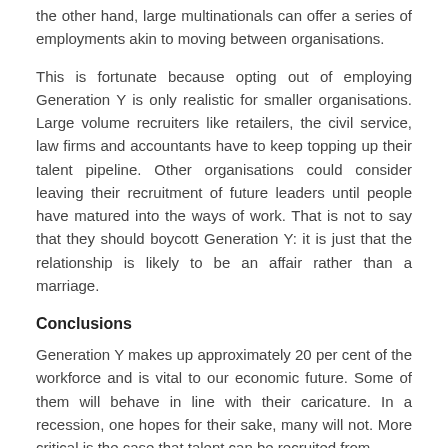the other hand, large multinationals can offer a series of employments akin to moving between organisations.
This is fortunate because opting out of employing Generation Y is only realistic for smaller organisations. Large volume recruiters like retailers, the civil service, law firms and accountants have to keep topping up their talent pipeline. Other organisations could consider leaving their recruitment of future leaders until people have matured into the ways of work. That is not to say that they should boycott Generation Y: it is just that the relationship is likely to be an affair rather than a marriage.
Conclusions
Generation Y makes up approximately 20 per cent of the workforce and is vital to our economic future. Some of them will behave in line with their caricature. In a recession, one hopes for their sake, many will not. More critical is the case that talent can be recruited from